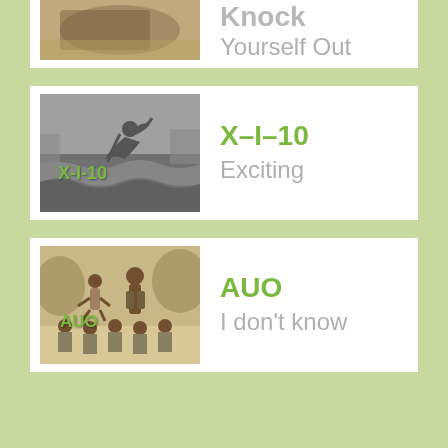[Figure (photo): Partial top card showing old sepia photo (car/beach scene) with text 'Knock Yourself Out' in gray]
Knock
Yourself Out
[Figure (photo): Black and white photo of person doing a flip on a beach with overlay text 'X-I-10']
X-I-10
Exciting
[Figure (photo): Sepia photo of group of people doing acrobatics outdoors with overlay text 'AUO']
AUO
I don't know